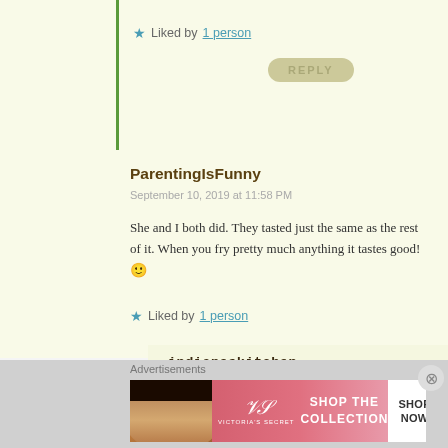Liked by 1 person
REPLY
ParentingIsFunny
September 10, 2019 at 11:58 PM
She and I both did. They tasted just the same as the rest of it. When you fry pretty much anything it tastes good! 🙂
Liked by 1 person
indianeskitchen
September 12, 2019 at 1:59 AM
Hahaha good point!
Advertisements
[Figure (other): Victoria's Secret advertisement banner with model photo, VS logo, 'SHOP THE COLLECTION' text and 'SHOP NOW' button]